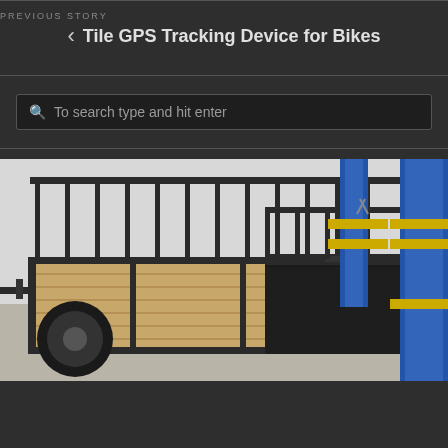PREVIOUS STORY
Tile GPS Tracking Device for Bikes
To search type and hit enter
[Figure (photo): A utility trailer with a wooden deck floor, black metal frame and side rails, with a large black storage box on the rear. In the background, there is a yellow and blue automotive lift in what appears to be a garage or workshop setting.]